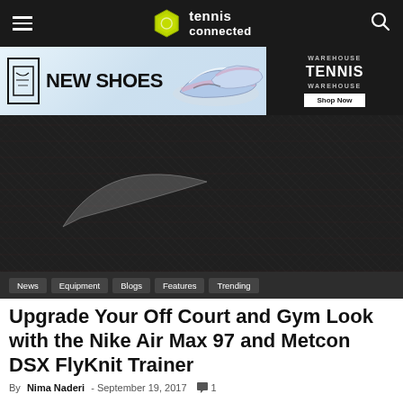tennis connected
[Figure (illustration): Tennis Warehouse advertisement banner showing Nike shoes with text NEW SHOES and Shop Now button]
[Figure (photo): Dark hero image showing Nike shoe sole close-up with Nike swoosh logo visible, dimly lit]
News | Equipment | Blogs | Features | Trending
Upgrade Your Off Court and Gym Look with the Nike Air Max 97 and Metcon DSX FlyKnit Trainer
By Nima Naderi - September 19, 2017  💬 1